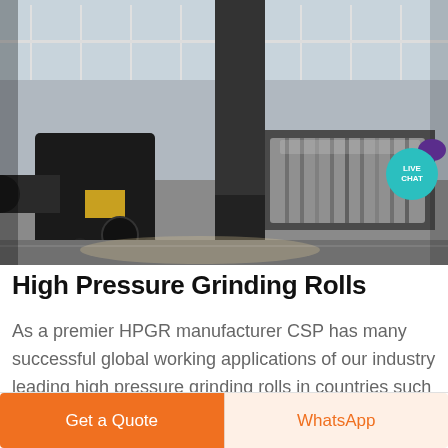[Figure (photo): Photograph of an industrial High Pressure Grinding Roll (HPGR) machine in a factory/warehouse setting. The machine has large cylindrical rolls and various mechanical components, with windows visible in the background. A 'LIVE CHAT' button/bubble is overlaid in the upper-right corner of the image.]
High Pressure Grinding Rolls
As a premier HPGR manufacturer CSP has many successful global working applications of our industry leading high pressure grinding rolls in countries such as Australia Brazil Canada China